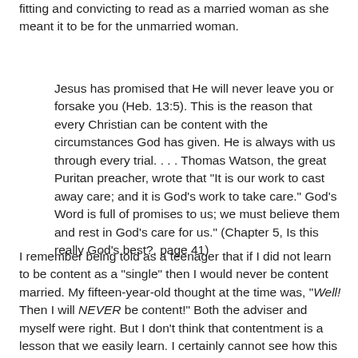fitting and convicting to read as a married woman as she meant it to be for the unmarried woman.
Jesus has promised that He will never leave you or forsake you (Heb. 13:5). This is the reason that every Christian can be content with the circumstances God has given. He is always with us through every trial. . . . Thomas Watson, the great Puritan preacher, wrote that "It is our work to cast away care; and it is God's work to take care." God's Word is full of promises to us; we must believe them and rest in God's care for us." (Chapter 5, Is this really God's best?, page 41)
I remember being told as a teenager that if I did not learn to be content as a "single" then I would never be content married. My fifteen-year-old thought at the time was, "Well! Then I will NEVER be content!" Both the adviser and myself were right. But I don't think that contentment is a lesson that we easily learn. I certainly cannot see how this could be